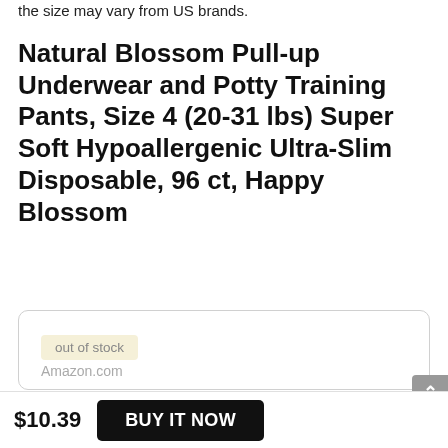the size may vary from US brands.
Natural Blossom Pull-up Underwear and Potty Training Pants, Size 4 (20-31 lbs) Super Soft Hypoallergenic Ultra-Slim Disposable, 96 ct, Happy Blossom
out of stock
BUY NOW
Amazon.com
$10.39
BUY IT NOW